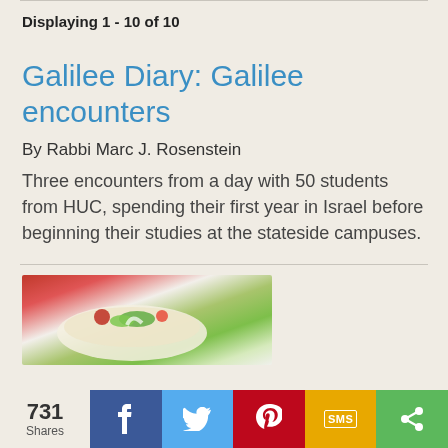Displaying 1 - 10 of 10
Galilee Diary: Galilee encounters
By Rabbi Marc J. Rosenstein
Three encounters from a day with 50 students from HUC, spending their first year in Israel before beginning their studies at the stateside campuses.
[Figure (photo): Food photo showing what appears to be a pita or flatbread with vegetables and garnishes, colorful with red and green elements]
731 Shares